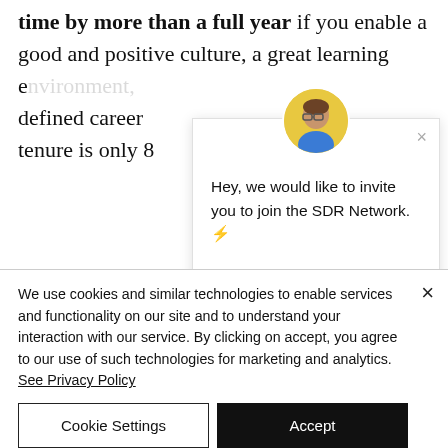time by more than a full year if you enable a good and positive culture, a great learning environment, defined career tenure is only 8
[Figure (screenshot): SDR Network popup overlay with avatar photo, close button (×), and text: 'Hey, we would like to invite you to join the SDR Network. ⚡ A network where we exchange sales playbooks, know-how, connect with other peers and host networking events.']
So if you aren't onboarding exp ...
We use cookies and similar technologies to enable services and functionality on our site and to understand your interaction with our service. By clicking on accept, you agree to our use of such technologies for marketing and analytics. See Privacy Policy